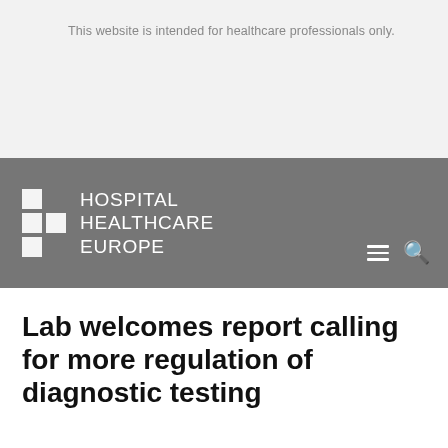This website is intended for healthcare professionals only.
[Figure (logo): Hospital Healthcare Europe logo with grid squares and text on grey navigation bar]
Lab welcomes report calling for more regulation of diagnostic testing